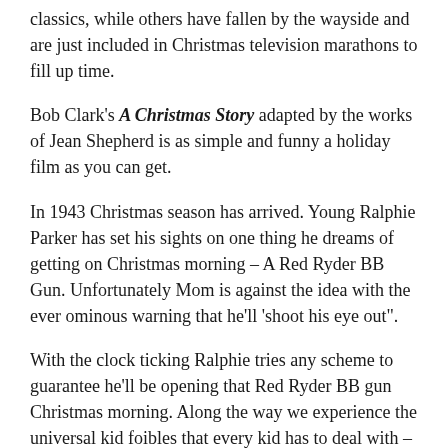classics, while others have fallen by the wayside and are just included in Christmas television marathons to fill up time.
Bob Clark's A Christmas Story adapted by the works of Jean Shepherd is as simple and funny a holiday film as you can get.
In 1943 Christmas season has arrived. Young Ralphie Parker has set his sights on one thing he dreams of getting on Christmas morning – A Red Ryder BB Gun. Unfortunately Mom is against the idea with the ever ominous warning that he'll 'shoot his eye out".
With the clock ticking Ralphie tries any scheme to guarantee he'll be opening that Red Ryder BB gun Christmas morning. Along the way we experience the universal kid foibles that every kid has to deal with – bullies, an annoying sibling and getting a C+ on your homework.